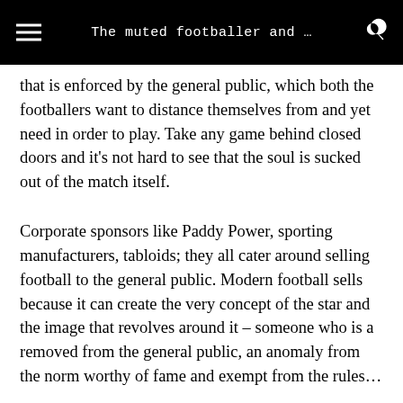The muted footballer and …
that is enforced by the general public, which both the footballers want to distance themselves from and yet need in order to play. Take any game behind closed doors and it's not hard to see that the soul is sucked out of the match itself.
Corporate sponsors like Paddy Power, sporting manufacturers, tabloids; they all cater around selling football to the general public. Modern football sells because it can create the very concept of the star and the image that revolves around it – someone who is a removed from the general public, an anomaly from the norm worthy of fame and exempt from the rules…